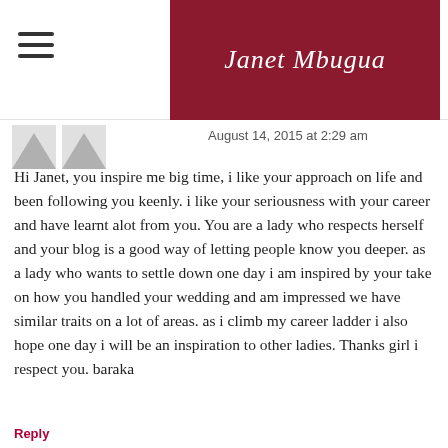Janet Mbugua
August 14, 2015 at 2:29 am
Hi Janet, you inspire me big time, i like your approach on life and been following you keenly. i like your seriousness with your career and have learnt alot from you. You are a lady who respects herself and your blog is a good way of letting people know you deeper. as a lady who wants to settle down one day i am inspired by your take on how you handled your wedding and am impressed we have similar traits on a lot of areas. as i climb my career ladder i also hope one day i will be an inspiration to other ladies. Thanks girl i respect you. baraka
Reply